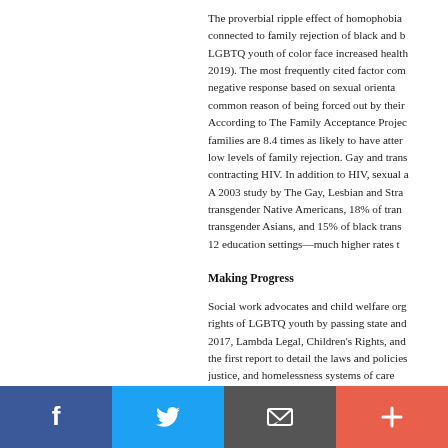The proverbial ripple effect of homophobia is connected to family rejection of black and b... LGBTQ youth of color face increased health... 2019). The most frequently cited factor com... negative response based on sexual orienta... common reason of being forced out by their... According to The Family Acceptance Projec... families are 8.4 times as likely to have atter... low levels of family rejection. Gay and trans... contracting HIV. In addition to HIV, sexual a... A 2003 study by The Gay, Lesbian and Stra... transgender Native Americans, 18% of tran... transgender Asians, and 15% of black trans... 12 education settings—much higher rates t...
Making Progress
Social work advocates and child welfare org... rights of LGBTQ youth by passing state and... 2017, Lambda Legal, Children's Rights, and... the first report to detail the laws and policies... justice, and homelessness systems of care... Between Recommended Practice and Real...